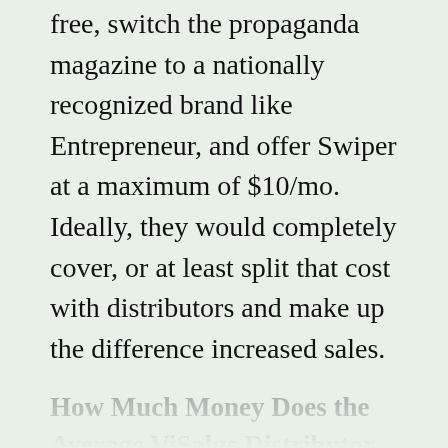free, switch the propaganda magazine to a nationally recognized brand like Entrepreneur, and offer Swiper at a maximum of $10/mo. Ideally, they would completely cover, or at least split that cost with distributors and make up the difference increased sales.
How Much Money Does the Average ViSalus Distributor Make?
Thanks to some great sleuthing by commenter Brandon, we can crunch some numbers and find out how much the average ViSalus distributor makes